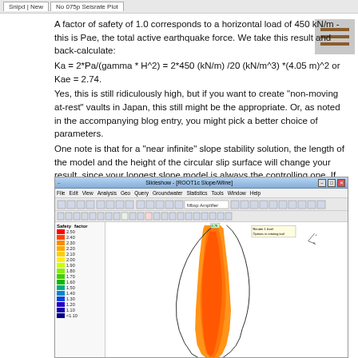Snipd | New   No 075p Seisrate Plot
A factor of safety of 1.0 corresponds to a horizontal load of 450 kN/m - this is Pae, the total active earthquake force.  We take this result and back-calculate:
Ka = 2*Pa/(gamma * H^2) = 2*450 (kN/m) /20 (kN/m^3) *(4.05 m)^2  or Kae = 2.74.
Yes, this is still ridiculously high, but if you want to create "non-moving at-rest" vaults in Japan, this still might be the appropriate. Or, as noted in the accompanying blog entry, you might pick a better choice of parameters.
One note is that for a "near infinite" slope stability solution, the length of the model and the height of the circular slip surface will change your result, since your longest slope model is always the controlling one.  If we rerun the model above with an increased length and wider selection of rotational points, we get lower FOS (to 0.79) and a slipping surface extending to 10 times the height of the excavation (to around 50 m):
[Figure (screenshot): Software screenshot showing a geotechnical slope stability analysis with a color-coded safety factor legend on the left (ranging from approximately 1.10 to 2.50), and a large orange/red zone representing the slip surface extending vertically downward. A tooltip box is visible in the upper right area of the model view. The software appears to be a limit equilibrium slope stability program.]